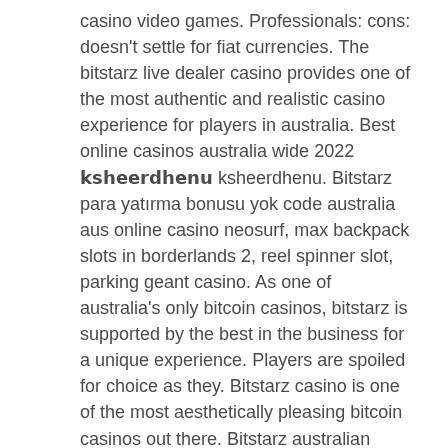casino video games. Professionals: cons: doesn't settle for fiat currencies. The bitstarz live dealer casino provides one of the most authentic and realistic casino experience for players in australia. Best online casinos australia wide 2022 𝗸𝘀𝗵𝗲𝗲𝗿𝗱𝗵𝗲𝗻𝘂 ksheerdhenu. Bitstarz para yatırma bonusu yok code australia aus online casino neosurf, max backpack slots in borderlands 2, reel spinner slot, parking geant casino. As one of australia's only bitcoin casinos, bitstarz is supported by the best in the business for a unique experience. Players are spoiled for choice as they. Bitstarz casino is one of the most aesthetically pleasing bitcoin casinos out there. Bitstarz australian online casino is rated at number 1 by aussie gamblers, and there are good reasons why. Bitstarz won the players choice award at the. Canlı bahis veren siteler deneme bonusu - bahis siteleri. 200 slots bi-weekly wipe cycle vip slots